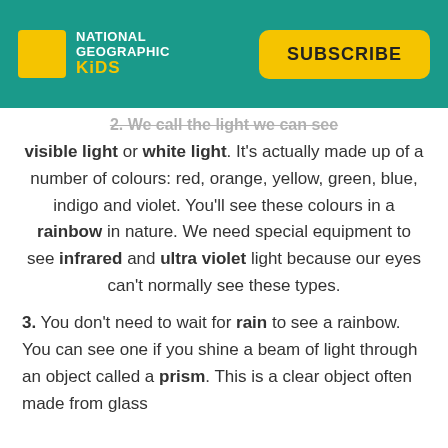National Geographic Kids | SUBSCRIBE
2. We call the light we can see visible light or white light. It's actually made up of a number of colours: red, orange, yellow, green, blue, indigo and violet. You'll see these colours in a rainbow in nature. We need special equipment to see infrared and ultra violet light because our eyes can't normally see these types.
3. You don't need to wait for rain to see a rainbow. You can see one if you shine a beam of light through an object called a prism. This is a clear object often made from glass